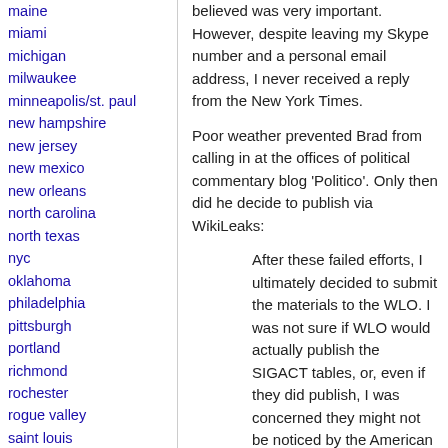maine
miami
michigan
milwaukee
minneapolis/st. paul
new hampshire
new jersey
new mexico
new orleans
north carolina
north texas
nyc
oklahoma
philadelphia
pittsburgh
portland
richmond
rochester
rogue valley
saint louis
san diego
san francisco
san francisco bay area
santa barbara
santa cruz, ca
sarasota
believed was very important. However, despite leaving my Skype number and a personal email address, I never received a reply from the New York Times.
Poor weather prevented Brad from calling in at the offices of political commentary blog 'Politico'. Only then did he decide to publish via WikiLeaks:
After these failed efforts, I ultimately decided to submit the materials to the WLO. I was not sure if WLO would actually publish the SIGACT tables, or, even if they did publish, I was concerned they might not be noticed by the American media. However, based on